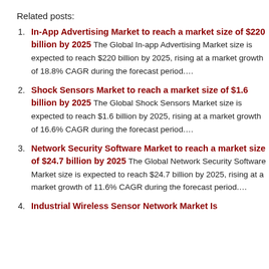Related posts:
In-App Advertising Market to reach a market size of $220 billion by 2025 The Global In-app Advertising Market size is expected to reach $220 billion by 2025, rising at a market growth of 18.8% CAGR during the forecast period….
Shock Sensors Market to reach a market size of $1.6 billion by 2025 The Global Shock Sensors Market size is expected to reach $1.6 billion by 2025, rising at a market growth of 16.6% CAGR during the forecast period….
Network Security Software Market to reach a market size of $24.7 billion by 2025 The Global Network Security Software Market size is expected to reach $24.7 billion by 2025, rising at a market growth of 11.6% CAGR during the forecast period….
Industrial Wireless Sensor Network Market Is